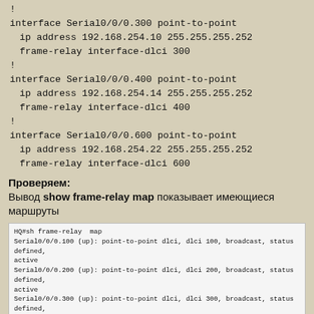! interface Serial0/0/0.300 point-to-point  ip address 192.168.254.10 255.255.255.252  frame-relay interface-dlci 300 ! interface Serial0/0/0.400 point-to-point  ip address 192.168.254.14 255.255.255.252  frame-relay interface-dlci 400 ! interface Serial0/0/0.600 point-to-point  ip address 192.168.254.22 255.255.255.252  frame-relay interface-dlci 600
Проверяем:
Вывод show frame-relay map показывает имеющиеся маршруты
HQ#sh frame-relay  map
Serial0/0/0.100 (up): point-to-point dlci, dlci 100, broadcast, status defined,
active
Serial0/0/0.200 (up): point-to-point dlci, dlci 200, broadcast, status defined,
active
Serial0/0/0.300 (up): point-to-point dlci, dlci 300, broadcast, status defined,
active
Вывод show frame-relay pvc показывает состояние каналов